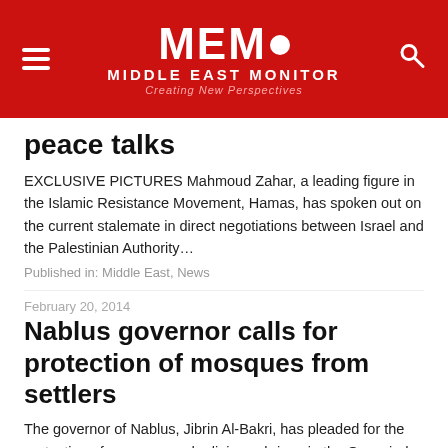[Figure (logo): MEMO Middle East Monitor logo with red background, hamburger menu icon on left, search icon on right. Text: MEMO MIDDLE EAST MONITOR Creating New Perspectives]
peace talks
EXCLUSIVE PICTURES Mahmoud Zahar, a leading figure in the Islamic Resistance Movement, Hamas, has spoken out on the current stalemate in direct negotiations between Israel and the Palestinian Authority...
Published in: Middle East, News
February 20, 2014
Nablus governor calls for protection of mosques from settlers
The governor of Nablus, Jibrin Al-Bakri, has pleaded for the protection of mosques and religious shrines in the Occupied Palestinian Territories against the "repeated and escalating" attacks by settlers....
Published in: Middle East, News